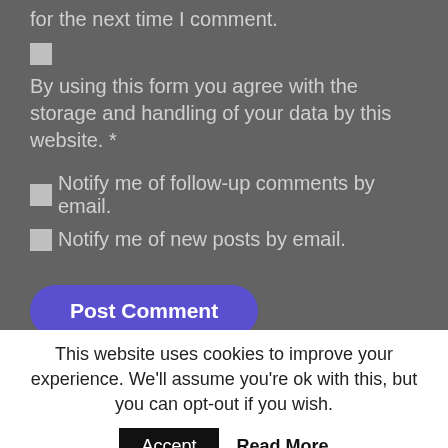for the next time I comment.
By using this form you agree with the storage and handling of your data by this website. *
Notify me of follow-up comments by email.
Notify me of new posts by email.
Post Comment
This site uses Akismet to reduce spam. Learn how your comment data is processed.
This website uses cookies to improve your experience. We'll assume you're ok with this, but you can opt-out if you wish.
Accept
Read More